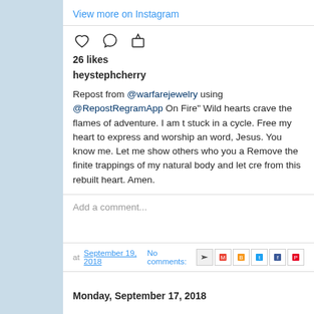View more on Instagram
26 likes
heystephcherry
Repost from @warfarejewelry using @RepostRegramApp On Fire" Wild hearts crave the flames of adventure. I am t stuck in a cycle. Free my heart to express and worship an word, Jesus. You know me. Let me show others who you a Remove the finite trappings of my natural body and let cre from this rebuilt heart. Amen.
Add a comment...
at September 19, 2018  No comments:
Monday, September 17, 2018